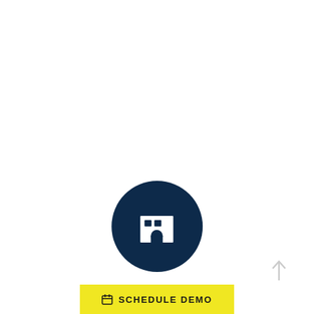[Figure (illustration): Dark navy blue circle with a white building/municipality icon (city hall style building with arched doorway and windows) centered inside it]
MUNICIPALITIES
SCHEDULE DEMO (with calendar icon)